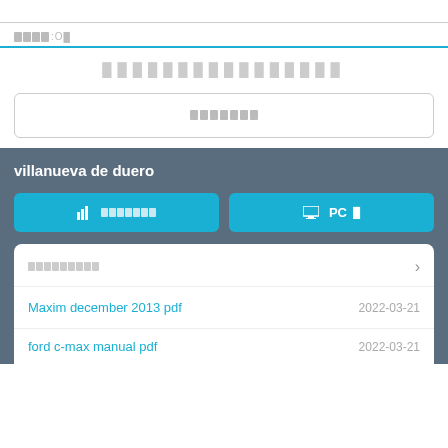████:O█
████████████████
███████
villanueva de duero
📊 ███████
🖥 PC█
█████████
Maxim december 2013 pdf
2022-03-21
ford  c-max  manual  pdf
2022-03-21